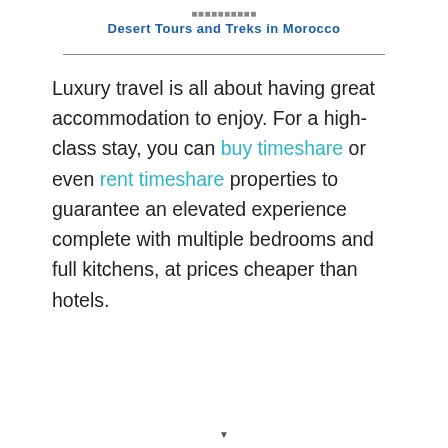Desert Tours and Treks in Morocco
Luxury travel is all about having great accommodation to enjoy. For a high-class stay, you can buy timeshare or even rent timeshare properties to guarantee an elevated experience complete with multiple bedrooms and full kitchens, at prices cheaper than hotels.